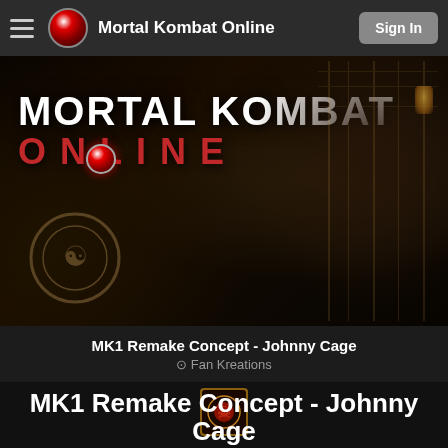Mortal Kombat Online  Sign In
[Figure (screenshot): Mortal Kombat Online website header hero image showing dark game environment with 'MORTAL KOMBAT ONLINE' logo text overlay]
MK1 Remake Concept - Johnny Cage
⊙ Fan Kreations
[Figure (logo): Mortal Kombat dragon logo icon in golden/red square frame]
MK1 Remake Concept - Johnny Cage